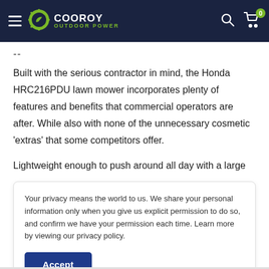Cooroy Outdoor Power — navigation header with hamburger menu, logo, search icon, and cart (0 items)
--
Built with the serious contractor in mind, the Honda HRC216PDU lawn mower incorporates plenty of features and benefits that commercial operators are after. While also with none of the unnecessary cosmetic 'extras' that some competitors offer.
Lightweight enough to push around all day with a large
Your privacy means the world to us. We share your personal information only when you give us explicit permission to do so, and confirm we have your permission each time. Learn more by viewing our privacy policy.
Accept